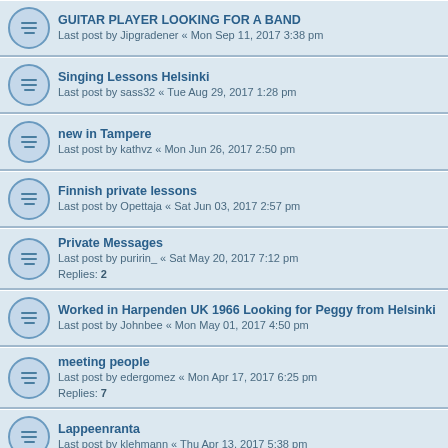GUITAR PLAYER LOOKING FOR A BAND
Last post by Jipgradener « Mon Sep 11, 2017 3:38 pm
Singing Lessons Helsinki
Last post by sass32 « Tue Aug 29, 2017 1:28 pm
new in Tampere
Last post by kathvz « Mon Jun 26, 2017 2:50 pm
Finnish private lessons
Last post by Opettaja « Sat Jun 03, 2017 2:57 pm
Private Messages
Last post by puririn_ « Sat May 20, 2017 7:12 pm
Replies: 2
Worked in Harpenden UK 1966 Looking for Peggy from Helsinki
Last post by Johnbee « Mon May 01, 2017 4:50 pm
meeting people
Last post by edergomez « Mon Apr 17, 2017 6:25 pm
Replies: 7
Lappeenranta
Last post by klehmann « Thu Apr 13, 2017 5:38 pm
WANTED: English teacher/tutor in Turku
Last post by amphi « Sat Apr 08, 2017 1:10 pm
LOOKING FOR AMERICAN SPEAKING VOICE ACTORS
Last post by MRP « Tue Mar 14, 2017 4:01 pm
Exchange piano lessons or accompaniment / piano practice
Last post by Tian Tian « Sun Feb 05, 2017 3:30 pm